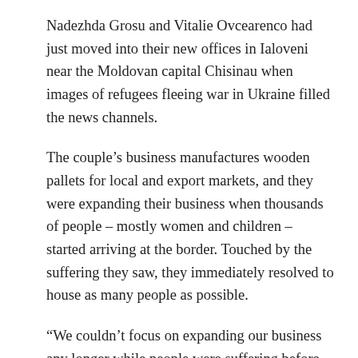Nadezhda Grosu and Vitalie Ovcearenco had just moved into their new offices in Ialoveni near the Moldovan capital Chisinau when images of refugees fleeing war in Ukraine filled the news channels.
The couple’s business manufactures wooden pallets for local and export markets, and they were expanding their business when thousands of people – mostly women and children – started arriving at the border. Touched by the suffering they saw, they immediately resolved to house as many people as possible.
“We couldn’t focus on expanding our business any longer while people were suffering before our eyes,” Vitalie said. “So we started to turn our office into a shelter for refugees,”
This involved moving all of their equipment into the small office they had recently vacated and converting the new office by adding partitions, installing toilets and plumbing, and buying beds